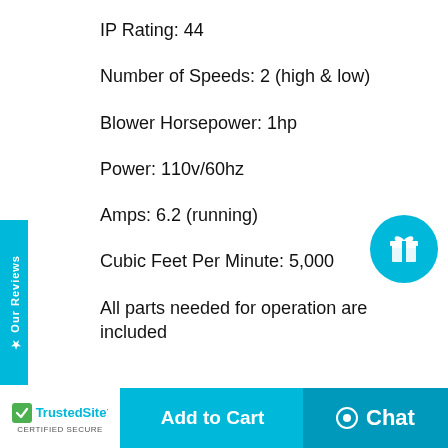IP Rating: 44
Number of Speeds: 2 (high & low)
Blower Horsepower: 1hp
Power: 110v/60hz
Amps: 6.2 (running)
Cubic Feet Per Minute: 5,000
All parts needed for operation are included
Diameter of blower is 18"
Compatible with all hook & loop or Velcro ® mount dancing man attachments